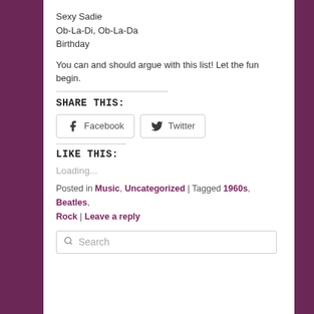Sexy Sadie
Ob-La-Di, Ob-La-Da
Birthday
You can and should argue with this list! Let the fun begin.
SHARE THIS:
[Figure (other): Facebook and Twitter share buttons]
LIKE THIS:
Loading...
Posted in Music, Uncategorized | Tagged 1960s, Beatles, Rock | Leave a reply
[Figure (other): Search box with placeholder text 'Search']